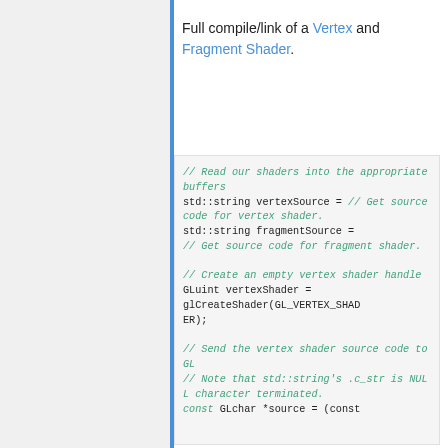Full compile/link of a Vertex and Fragment Shader.
[Figure (screenshot): Code block showing C++ OpenGL shader source code with comments in green italic and code in black monospace font. Contains: read shaders into buffers, create vertex shader handle, send vertex shader source code to GL.]